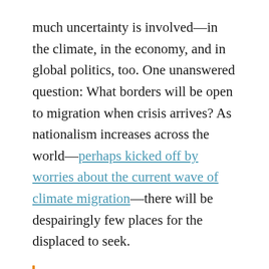much uncertainty is involved—in the climate, in the economy, and in global politics, too. One unanswered question: What borders will be open to migration when crisis arrives? As nationalism increases across the world—perhaps kicked off by worries about the current wave of climate migration—there will be despairingly few places for the displaced to seek.
Increasing emphasis on border security—which has accompanied a rise of nationalist politics globally—